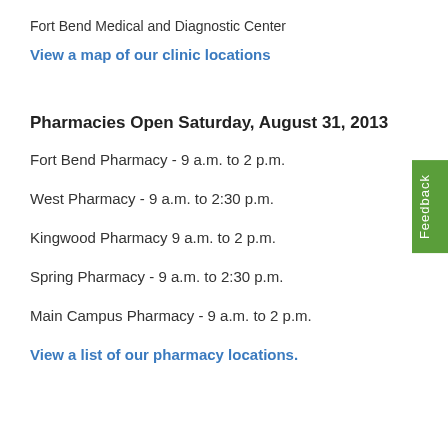Fort Bend Medical and Diagnostic Center
View a map of our clinic locations
Pharmacies Open Saturday, August 31, 2013
Fort Bend Pharmacy - 9 a.m. to 2 p.m.
West Pharmacy - 9 a.m. to 2:30 p.m.
Kingwood Pharmacy 9 a.m. to 2 p.m.
Spring Pharmacy - 9 a.m. to 2:30 p.m.
Main Campus Pharmacy - 9 a.m. to 2 p.m.
View a list of our pharmacy locations.